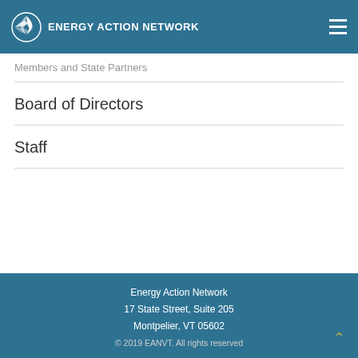Energy Action Network
Members and State Partners
Board of Directors
Staff
Energy Action Network
17 State Street, Suite 205
Montpelier, VT 05602
© 2019 EANVT. All rights reserved